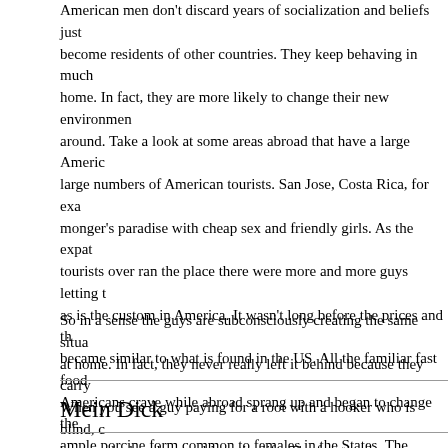American men don't discard years of socialization and beliefs just because they become residents of other countries. They keep behaving in much the same way as at home. In fact, they are more likely to change their new environment than turn it around. Take a look at some areas abroad that have a large American expat base or large numbers of American tourists. San Jose, Costa Rica, for example was a monger's paradise with cheap sex and friendly girls. As the expat community and tourists over ran the place there were more and more guys letting the girls walk all over as is the custom in America. It wasn't long before the prices and the attitudes became similar to what is found in the US. All the familiar fast food restaurants Americans crave while abroad sprang up and began to change the girls from the ample porcine form common to females in the States. The American money meant more of the girls started getting silicone enhanced chests. More money for these "bolt on" abominations. Most of the guys showing up were beta, not getting much, if any, pussy at home. The girls quickly learned that they would cave to their demands and jacked the prices up. The large population of beta males in the area meant more of the girls who showed up in the bars were cold and entitled.
So in a sense the guys are subconsciously creating the same situation they had at home. In fact, they never really left it behind because they carry it with them. When you see a guy paying for a root with a hooker who is blind, chances are it's because he has done so his entire life. The fact that he got on a plane didn't change his behavior. Just look at the number of guys who catch Pattaya fever and marry hookers or put them on generous monthly Western Union payments.
Mein Dick